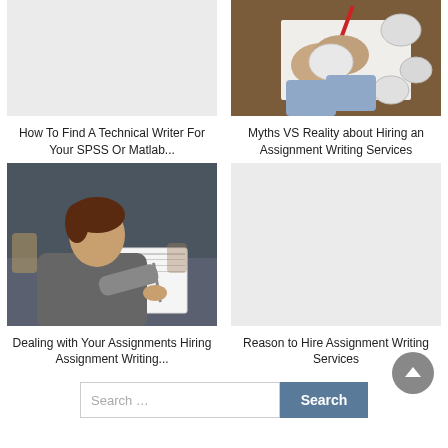[Figure (photo): Light gray placeholder image for technical writer article]
[Figure (photo): Person crumpling paper on a desk with crumpled paper balls and a red pen, illustrating writing struggles]
How To Find A Technical Writer For Your SPSS Or Matlab...
Myths VS Reality about Hiring an Assignment Writing Services
[Figure (photo): Student in gray sweatshirt writing in a notebook at a desk in a classroom]
[Figure (photo): Light gray placeholder image for assignment writing services article]
Dealing with Your Assignments Hiring Assignment Writing...
Reason to Hire Assignment Writing Services